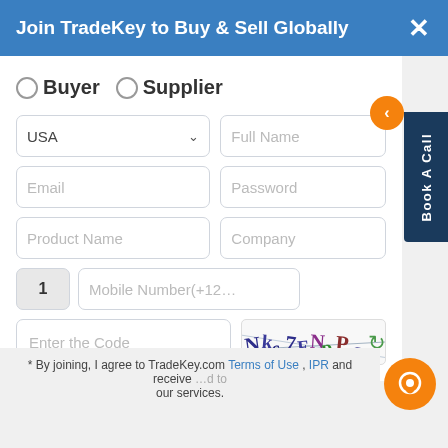Join TradeKey to Buy & Sell Globally
○ Buyer   ○ Supplier
[Figure (screenshot): Registration form with fields: USA country dropdown, Full Name, Email, Password, Product Name, Company, phone code 1, Mobile Number (+12...), Enter the Code captcha input, captcha image with distorted text, refresh icon. Also shows Book A Call sidebar tab and navigation arrow button.]
* By joining, I agree to TradeKey.com Terms of Use , IPR and receive ...d to our services.